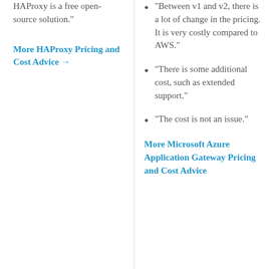HAProxy is a free open-source solution."
More HAProxy Pricing and Cost Advice →
"Between v1 and v2, there is a lot of change in the pricing. It is very costly compared to AWS."
"There is some additional cost, such as extended support."
"The cost is not an issue."
More Microsoft Azure Application Gateway Pricing and Cost Advice